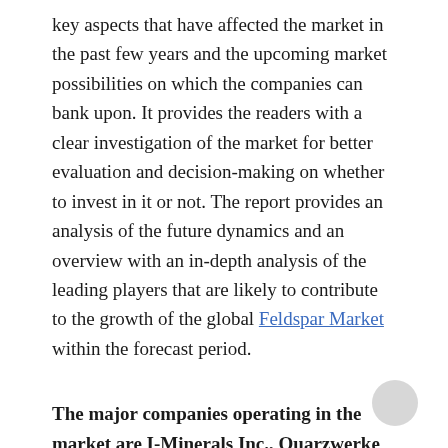key aspects that have affected the market in the past few years and the upcoming market possibilities on which the companies can bank upon. It provides the readers with a clear investigation of the market for better evaluation and decision-making on whether to invest in it or not. The report provides an analysis of the future dynamics and an overview with an in-depth analysis of the leading players that are likely to contribute to the growth of the global Feldspar Market within the forecast period.
The major companies operating in the market are I-Minerals Inc., Quarzwerke GmbH, Adolf Gottfried Tonwerke GmbH, EczacibasiEsan, LB Minerals, U.S. Silica Company, El Waha Mining & Fertilizers and so on.